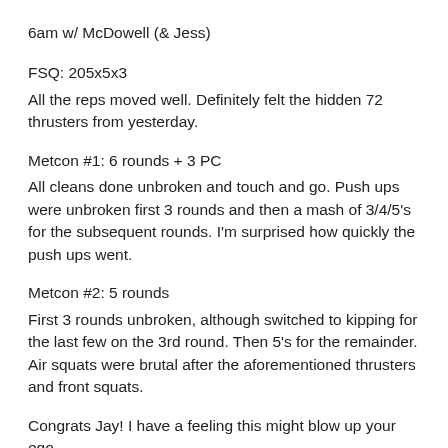6am w/ McDowell (& Jess)
FSQ: 205x5x3
All the reps moved well. Definitely felt the hidden 72 thrusters from yesterday.
Metcon #1: 6 rounds + 3 PC
All cleans done unbroken and touch and go. Push ups were unbroken first 3 rounds and then a mash of 3/4/5's for the subsequent rounds. I'm surprised how quickly the push ups went.
Metcon #2: 5 rounds
First 3 rounds unbroken, although switched to kipping for the last few on the 3rd round. Then 5's for the remainder. Air squats were brutal after the aforementioned thrusters and front squats.
Congrats Jay! I have a feeling this might blow up your ego